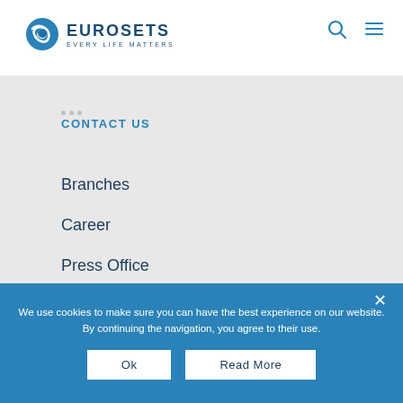[Figure (logo): Eurosets logo with blue bird/swoosh icon and text EUROSETS EVERY LIFE MATTERS]
CONTACT US
Branches
Career
Press Office
MEDIA
We use cookies to make sure you can have the best experience on our website. By continuing the navigation, you agree to their use.
Ok
Read More